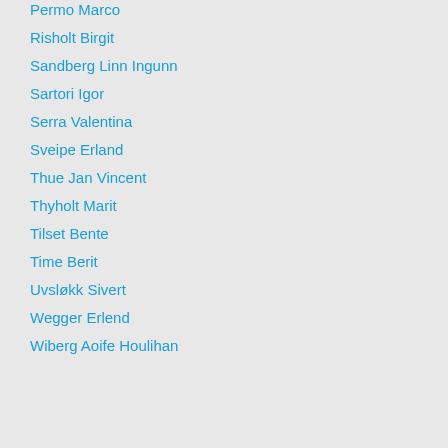Permo Marco
Risholt Birgit
Sandberg Linn Ingunn
Sartori Igor
Serra Valentina
Sveipe Erland
Thue Jan Vincent
Thyholt Marit
Tilset Bente
Time Berit
Uvsløkk Sivert
Wegger Erlend
Wiberg Aoife Houlihan